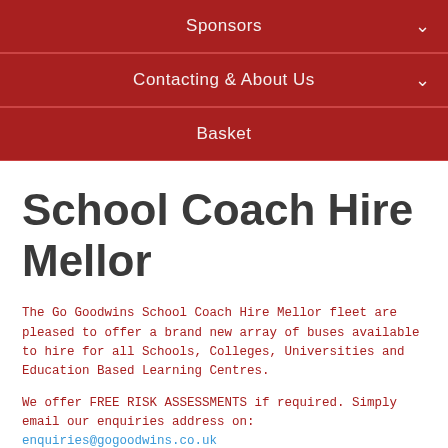Sponsors
Contacting & About Us
Basket
School Coach Hire Mellor
The Go Goodwins School Coach Hire Mellor fleet are pleased to offer a brand new array of buses available to hire for all Schools, Colleges, Universities and Education Based Learning Centres.
We offer FREE RISK ASSESSMENTS if required. Simply email our enquiries address on: enquiries@gogoodwins.co.uk
School Coach Hire Mellor Hotline: 0161-789-4545